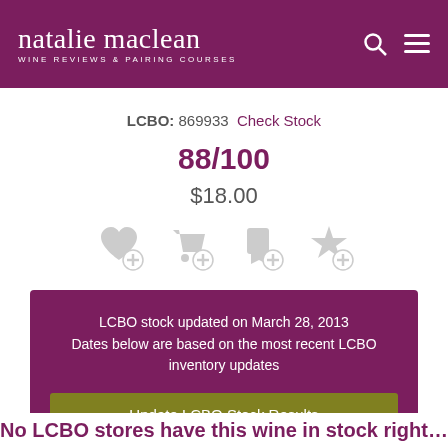natalie maclean — WINE REVIEWS & PAIRING COURSES
LCBO: 869933  Check Stock
88/100
$18.00
[Figure (infographic): Four grey action icon buttons: heart/add, shopping cart/add, flag/add, star/add]
LCBO stock updated on March 28, 2013
Dates below are based on the most recent LCBO inventory updates
Update LCBO Stock Results
No LCBO stores have this wine in stock right...